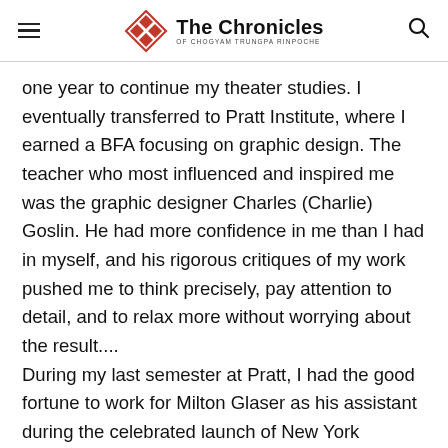The Chronicles of Chogyam Trungpa Rinpoche
one year to continue my theater studies. I eventually transferred to Pratt Institute, where I earned a BFA focusing on graphic design. The teacher who most influenced and inspired me was the graphic designer Charles (Charlie) Goslin. He had more confidence in me than I had in myself, and his rigorous critiques of my work pushed me to think precisely, pay attention to detail, and to relax more without worrying about the result.... During my last semester at Pratt, I had the good fortune to work for Milton Glaser as his assistant during the celebrated launch of New York Magazine. While at Milton Glaser Inc., I